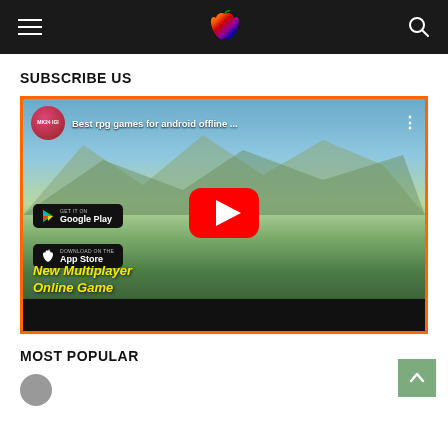Site header with hamburger menu, Apple logo, and search icon
SUBSCRIBE US
[Figure (screenshot): YouTube video embed showing 'Best rpg games for android offline...' by MK24 IGI channel, featuring two game characters fighting outdoors, with Google Play and App Store badges, a YouTube play button, and yellow text 'New Multiplayer Online Game']
MOST POPULAR